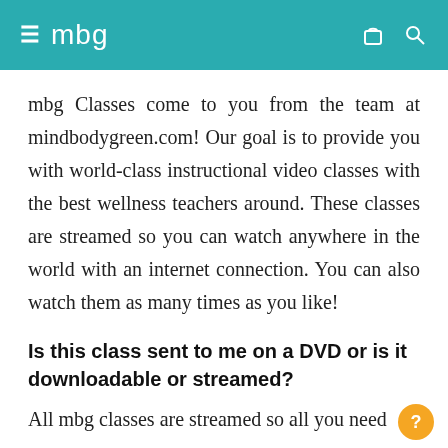≡ mbg
mbg Classes come to you from the team at mindbodygreen.com! Our goal is to provide you with world-class instructional video classes with the best wellness teachers around. These classes are streamed so you can watch anywhere in the world with an internet connection. You can also watch them as many times as you like!
Is this class sent to me on a DVD or is it downloadable or streamed?
All mbg classes are streamed so all you need